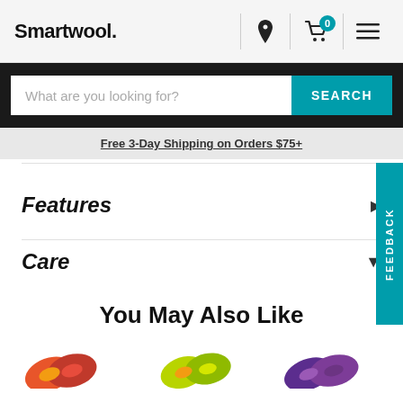Smartwool.
What are you looking for?  SEARCH
Free 3-Day Shipping on Orders $75+
Features
Care
You May Also Like
[Figure (photo): Three pairs of colorful socks shown at the bottom of the page as product recommendations]